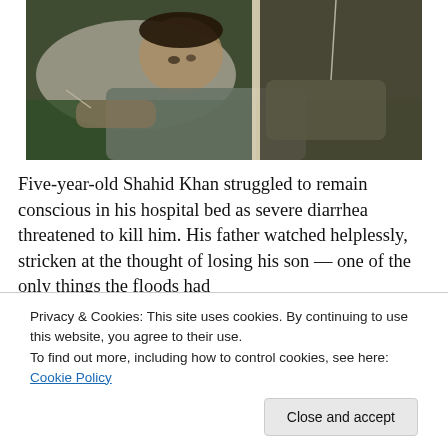[Figure (photo): A young child (Five-year-old Shahid Khan) lying in a hospital bed with an IV drip, wearing gray clothing, photographed in low light. The image appears split or has a light reflection/divider running vertically.]
Five-year-old Shahid Khan struggled to remain conscious in his hospital bed as severe diarrhea threatened to kill him. His father watched helplessly, stricken at the thought of losing his son — one of the only things the floods had
Privacy & Cookies: This site uses cookies. By continuing to use this website, you agree to their use.
To find out more, including how to control cookies, see here: Cookie Policy
waterborne disease, according to the United Nations.